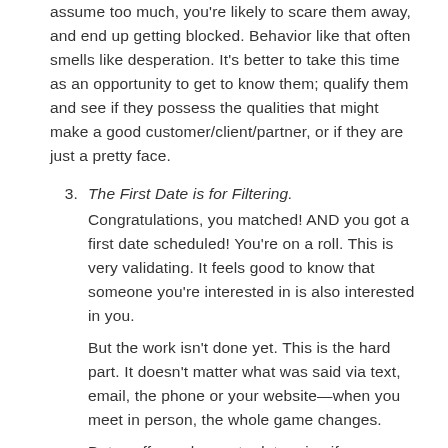assume too much, you're likely to scare them away, and end up getting blocked. Behavior like that often smells like desperation. It's better to take this time as an opportunity to get to know them; qualify them and see if they possess the qualities that might make a good customer/client/partner, or if they are just a pretty face.
3. The First Date is for Filtering. Congratulations, you matched! AND you got a first date scheduled! You're on a roll. This is very validating. It feels good to know that someone you're interested in is also interested in you. But the work isn't done yet. This is the hard part. It doesn't matter what was said via text, email, the phone or your website—when you meet in person, the whole game changes. Dates offer a chance to determine if you are a good fit. In business, this can be an intro...